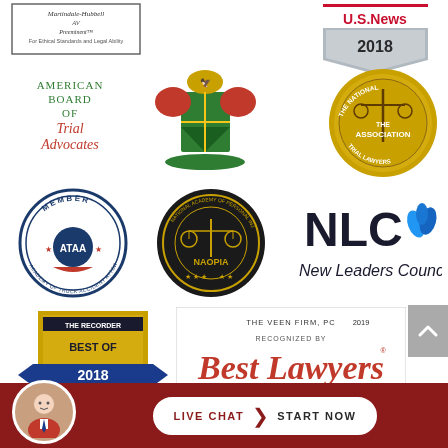[Figure (logo): Martindale-Hubbell 'For Ethical Standards and Legal Ability' badge]
[Figure (logo): U.S. News Best Lawyers 2018 logo]
[Figure (logo): American Board of Trial Advocates logo]
[Figure (logo): Nigerian coat of arms style heraldic emblem]
[Figure (logo): The National Trial Lawyers - The Association logo]
[Figure (logo): ATAA Academy of Truck Accident Attorneys Member badge]
[Figure (logo): NAOPIA National Academy of Personal Injury Attorneys logo]
[Figure (logo): NLC New Leaders Council logo]
[Figure (logo): The Recorder Best of 2018 award badge]
[Figure (logo): The Veen Firm PC 2019 Recognized by Best Lawyers badge]
LIVE CHAT  START NOW